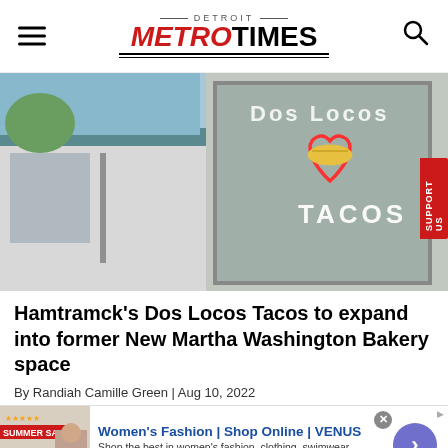DETROIT METRO TIMES
[Figure (photo): Exterior of Dos Locos Tacos restaurant storefront showing a neon sign in the window with a heart shape, a taco, and the word TACOS in neon lights. The building is white painted brick with large windows.]
Hamtramck's Dos Locos Tacos to expand into former New Martha Washington Bakery space
By Randiah Camille Green | Aug 10, 2022
[Figure (screenshot): Advertisement banner for VENUS women's fashion. Shows text: Women's Fashion | Shop Online | VENUS. Shop the best in women's fashion, clothing, swimwear. venus.com]